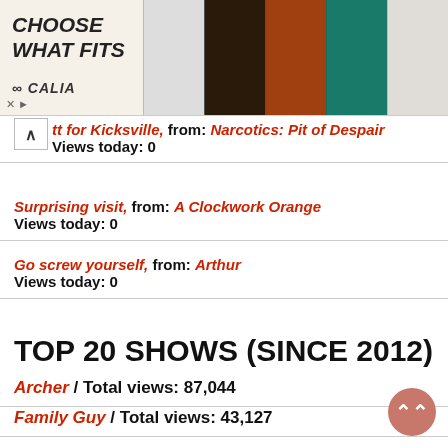[Figure (photo): Advertisement banner: CHOOSE WHAT FITS, Calia brand, showing swimwear/activewear product images]
...tt for Kicksville, from: Narcotics: Pit of Despair
Views today: 0
Surprising visit, from: A Clockwork Orange
Views today: 0
Go screw yourself, from: Arthur
Views today: 0
TOP 20 SHOWS (SINCE 2012)
Archer / Total views: 87,044
Family Guy / Total views: 43,127
Doctor Who (II) / Total views: 37,291
Sound Effects / Total views: 34,721